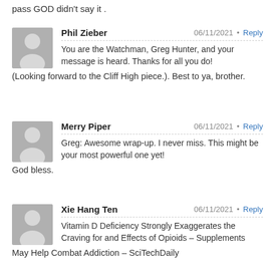pass GOD didn't say it .
Phil Zieber
06/11/2021 • Reply
You are the Watchman, Greg Hunter, and your message is heard. Thanks for all you do! (Looking forward to the Cliff High piece.). Best to ya, brother.
Merry Piper
06/11/2021 • Reply
Greg: Awesome wrap-up. I never miss. This might be your most powerful one yet!
God bless.
Xie Hang Ten
06/11/2021 • Reply
Vitamin D Deficiency Strongly Exaggerates the Craving for and Effects of Opioids – Supplements May Help Combat Addiction – SciTechDaily